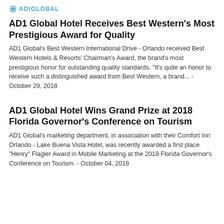[Figure (logo): AD1 Global logo with blue circle/globe icon and teal text 'ADIGLOBAL']
AD1 Global Hotel Receives Best Western's Most Prestigious Award for Quality
AD1 Global's Best Western International Drive - Orlando received Best Western Hotels & Resorts' Chairman's Award, the brand's most prestigious honor for outstanding quality standards. "It's quite an honor to receive such a distinguished award from Best Western, a brand... - October 29, 2018
AD1 Global Hotel Wins Grand Prize at 2018 Florida Governor's Conference on Tourism
AD1 Global's marketing department, in association with their Comfort Inn Orlando - Lake Buena Vista Hotel, was recently awarded a first place "Henry" Flagler Award in Mobile Marketing at the 2018 Florida Governor's Conference on Tourism. - October 04, 2018